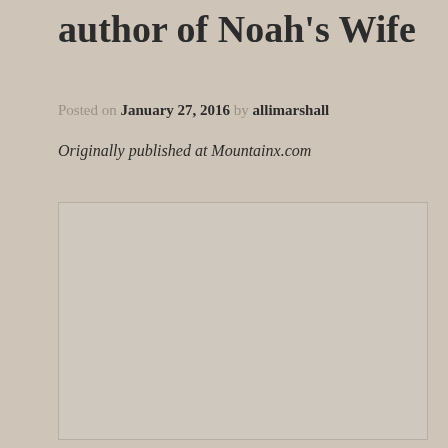author of Noah's Wife
Posted on January 27, 2016 by allimarshall
Originally published at Mountainx.com
[Figure (photo): A large placeholder image area with a beige/tan background filling the lower portion of the page.]